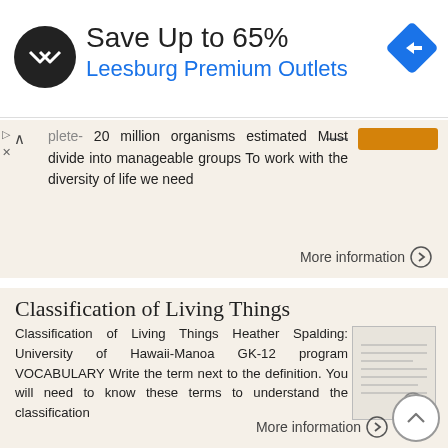[Figure (screenshot): Advertisement banner: Save Up to 65% Leesburg Premium Outlets with logo and navigation arrow icon]
olete- 20 million organisms estimated Must divide into manageable groups To work with the diversity of life we need
More information →
Classification of Living Things
Classification of Living Things Heather Spalding: University of Hawaii-Manoa GK-12 program VOCABULARY Write the term next to the definition. You will need to know these terms to understand the classification
More information →